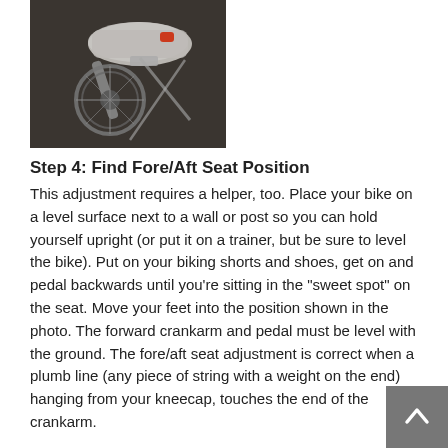[Figure (photo): Close-up photo of a bicycle pedal and crankarm mechanism with a shoe/foot on it, showing bike components against a dark background]
Step 4: Find Fore/Aft Seat Position
This adjustment requires a helper, too. Place your bike on a level surface next to a wall or post so you can hold yourself upright (or put it on a trainer, but be sure to level the bike). Put on your biking shorts and shoes, get on and pedal backwards until you're sitting in the "sweet spot" on the seat. Move your feet into the position shown in the photo. The forward crankarm and pedal must be level with the ground. The fore/aft seat adjustment is correct when a plumb line (any piece of string with a weight on the end) hanging from your kneecap, touches the end of the crankarm.
Notes
As with the other adjustments, this is a safe starting position.